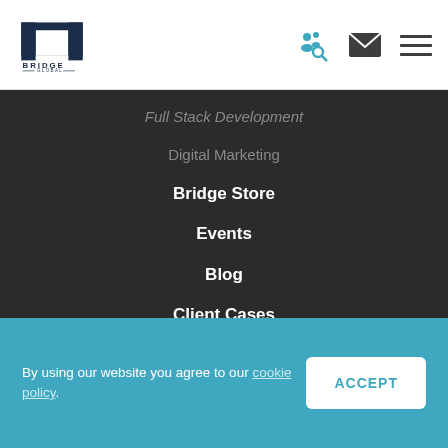[Figure (logo): Bridge Global logo — dark blue square arch icon above text BRIDGE GLOBAL]
[Figure (infographic): Navigation icons: blue people/search icon, dark envelope/email icon, dark hamburger menu icon]
Full Stack Development
Digital Marketing
Bridge Store
Events
Blog
Client Cases
Careers
By using our website you agree to our cookie policy.
ACCEPT